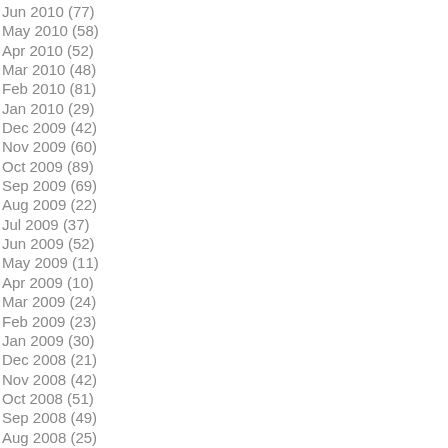Jun 2010 (77)
May 2010 (58)
Apr 2010 (52)
Mar 2010 (48)
Feb 2010 (81)
Jan 2010 (29)
Dec 2009 (42)
Nov 2009 (60)
Oct 2009 (89)
Sep 2009 (69)
Aug 2009 (22)
Jul 2009 (37)
Jun 2009 (52)
May 2009 (11)
Apr 2009 (10)
Mar 2009 (24)
Feb 2009 (23)
Jan 2009 (30)
Dec 2008 (21)
Nov 2008 (42)
Oct 2008 (51)
Sep 2008 (49)
Aug 2008 (25)